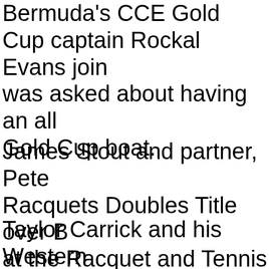Bermuda's CCE Gold Cup captain Rockal Evans join was asked about having an all Gold Cup boat.
James Stout and partner, Pete Racquets Doubles Title over B at the Racquet and Tennis Clu
Taylor Carrick and his Western teammates captured their 38th during the 2022 Ontario Unive Championships.